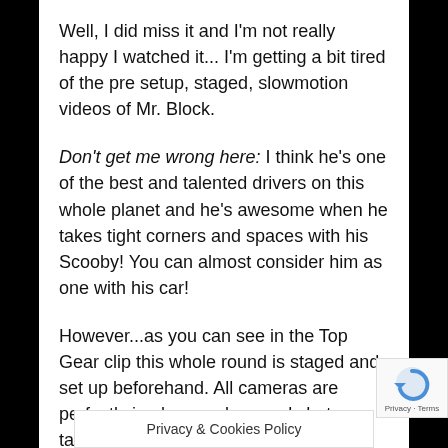Well, I did miss it and I'm not really happy I watched it... I'm getting a bit tired of the pre setup, staged, slowmotion videos of Mr. Block.
Don't get me wrong here: I think he's one of the best and talented drivers on this whole planet and he's awesome when he takes tight corners and spaces with his Scooby! You can almost consider him as one with his car!
However...as you can see in the Top Gear clip this whole round is staged and set up beforehand. All cameras are perfectly in place and several shots are taken multiple times (see differences in tiretracks, skidmarks and smoke) and especially the finale jum one big show setup. M                             veral runs
Privacy & Cookies Policy